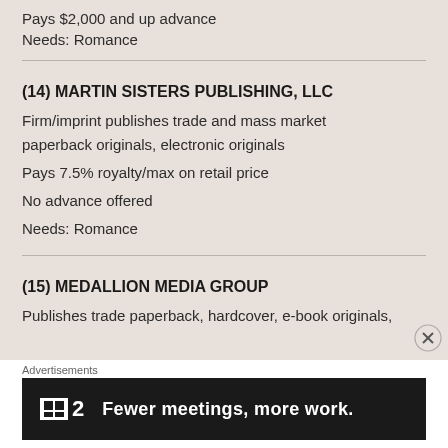Pays $2,000 and up advance
Needs: Romance
(14) MARTIN SISTERS PUBLISHING, LLC
Firm/imprint publishes trade and mass market paperback originals, electronic originals
Pays 7.5% royalty/max on retail price
No advance offered
Needs: Romance
(15) MEDALLION MEDIA GROUP
Publishes trade paperback, hardcover, e-book originals,
Advertisements
[Figure (infographic): Advertisement banner: T2 logo with text 'Fewer meetings, more work.']